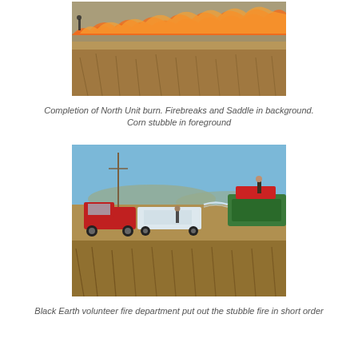[Figure (photo): Aerial view of a field burn showing flames and smoke along the top, with corn stubble in the foreground and figures visible near the fire line.]
Completion of North Unit burn. Firebreaks and Saddle in background. Corn stubble in foreground
[Figure (photo): Fire trucks and a green tank truck in a harvested corn field with a person operating water spray equipment. Blue sky in background with hills.]
Black Earth volunteer fire department put out the stubble fire in short order